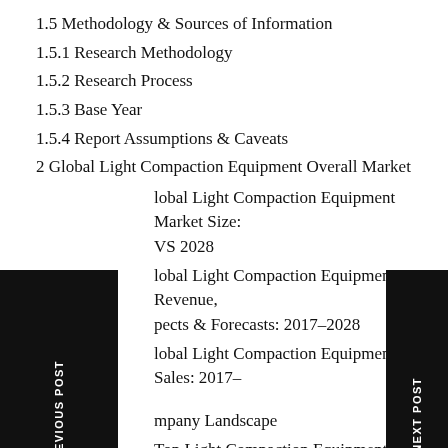1.5 Methodology & Sources of Information
1.5.1 Research Methodology
1.5.2 Research Process
1.5.3 Base Year
1.5.4 Report Assumptions & Caveats
2 Global Light Compaction Equipment Overall Market
Global Light Compaction Equipment Market Size: VS 2028
Global Light Compaction Equipment Revenue, pects & Forecasts: 2017–2028
Global Light Compaction Equipment Sales: 2017–
mpany Landscape
3.1 Top Light Compaction Equipment Players in Global Market
3.2 Top Global Light Compaction Equipment Companies Ranked by Revenue
3.3 Global Light Compaction Equipment Revenue by Companies